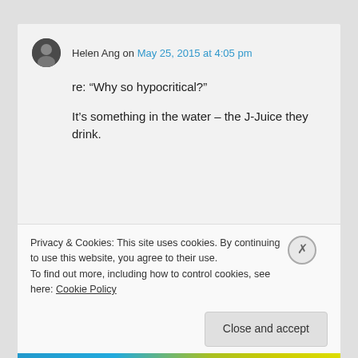Helen Ang on May 25, 2015 at 4:05 pm
re: “Why so hypocritical?”

It’s something in the water – the J-Juice they drink.
islam1st on May 25, 2015 at 11:26 pm
‘This Prof Rama is a know...
Privacy & Cookies: This site uses cookies. By continuing to use this website, you agree to their use.
To find out more, including how to control cookies, see here: Cookie Policy
Close and accept